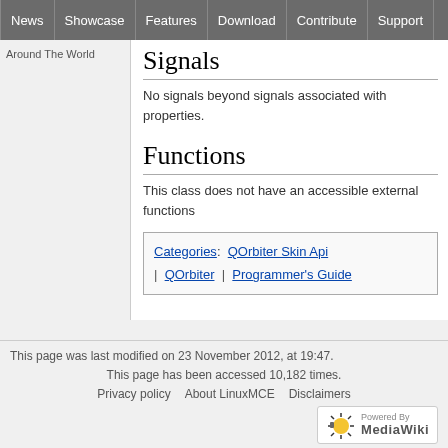News | Showcase | Features | Download | Contribute | Support
Around The World
Signals
No signals beyond signals associated with properties.
Functions
This class does not have an accessible external functions
Categories: QOrbiter Skin Api | QOrbiter | Programmer's Guide
This page was last modified on 23 November 2012, at 19:47.
This page has been accessed 10,182 times.
Privacy policy   About LinuxMCE   Disclaimers